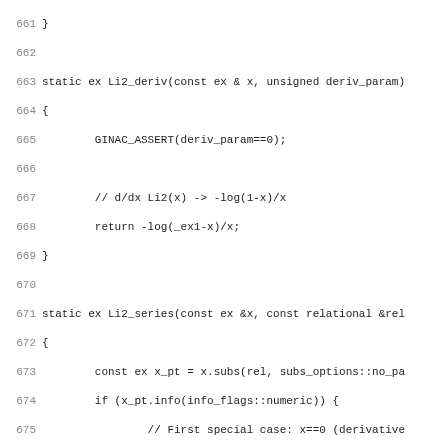[Figure (screenshot): Source code screenshot showing C++ code for Li2_deriv and Li2_series functions, lines 661-692, with line numbers on the left and monospaced code on the right.]